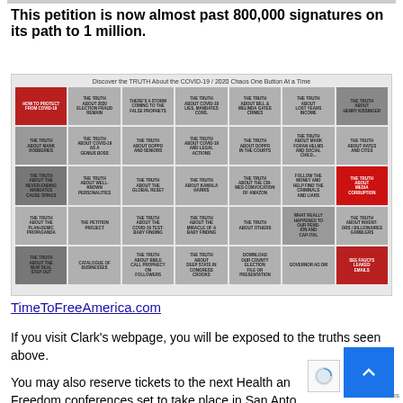This petition is now almost past 800,000 signatures on its path to 1 million.
[Figure (screenshot): Screenshot of a grid/button layout from a webpage titled 'Discover the TRUTH About the COVID-19 / 2020 Chaos One Button At a Time', showing multiple clickable topic buttons, some red, some gray with photos.]
TimeToFreeAmerica.com
If you visit Clark's webpage, you will be exposed to the truths seen above.
You may also reserve tickets to the next Health and Freedom conferences set to take place in San Anto... Dallas, Texas.